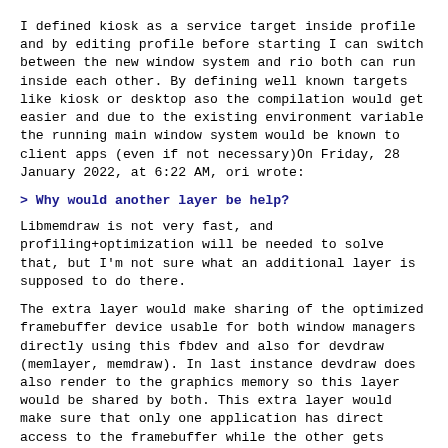I defined kiosk as a service target inside profile and by editing profile before starting I can switch between the new window system and rio both can run inside each other. By defining well known targets like kiosk or desktop aso the compilation would get easier and due to the existing environment variable the running main window system would be known to client apps (even if not necessary)On Friday, 28 January 2022, at 6:22 AM, ori wrote:
> Why would another layer be help?
Libmemdraw is not very fast, and profiling+optimization will be needed to solve that, but I'm not sure what an additional layer is supposed to do there.
The extra layer would make sharing of the optimized framebuffer device usable for both window managers directly using this fbdev and also for devdraw (memlayer, memdraw). In last instance devdraw does also render to the graphics memory so this layer would be shared by both. This extra layer would make sure that only one application has direct access to the framebuffer while the other gets multiplexed. I did the multiplexing in my window manager for rio so its possible to run my window manager inside rio and vice versa. The alternative would be a parallel fbdev with the risk that both devdraw as well as this dev driver try to write concurently to the video memory. The